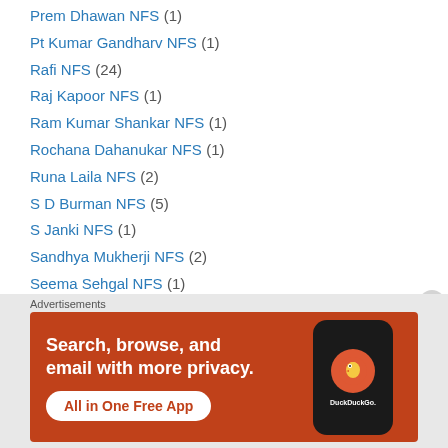Prem Dhawan NFS (1)
Pt Kumar Gandharv NFS (1)
Rafi NFS (24)
Raj Kapoor NFS (1)
Ram Kumar Shankar NFS (1)
Rochana Dahanukar NFS (1)
Runa Laila NFS (2)
S D Burman NFS (5)
S Janki NFS (1)
Sandhya Mukherji NFS (2)
Seema Sehgal NFS (1)
Shamshad Begam NFS (2)
Shanti Hiranand NFS (1)
Shubha Mudgal NFS (1)
[Figure (screenshot): DuckDuckGo advertisement banner with orange background. Text reads: Search, browse, and email with more privacy. All in One Free App. Shows a phone with DuckDuckGo logo.]